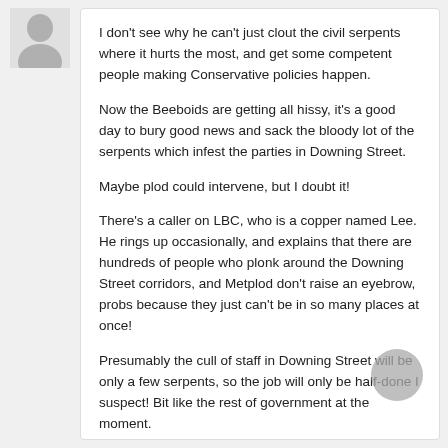[Figure (illustration): Grey silhouette avatar icon of a person, used as a user profile image placeholder]
I don't see why he can't just clout the civil serpents where it hurts the most, and get some competent people making Conservative policies happen.
Now the Beeboids are getting all hissy, it's a good day to bury good news and sack the bloody lot of the serpents which infest the parties in Downing Street.
Maybe plod could intervene, but I doubt it!
There's a caller on LBC, who is a copper named Lee. He rings up occasionally, and explains that there are hundreds of people who plonk around the Downing Street corridors, and Metplod don't raise an eyebrow, probs because they just can't be in so many places at once!
Presumably the cull of staff in Downing Street will be only a few serpents, so the job will only be half-done I suspect! Bit like the rest of government at the moment.